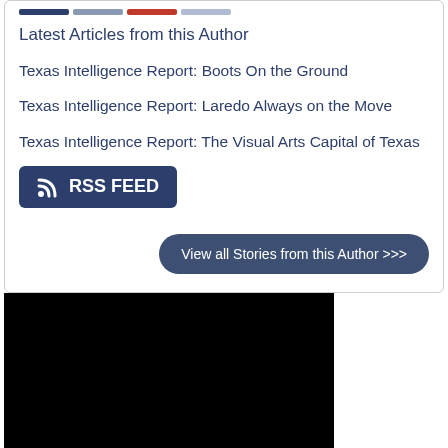Latest Articles from this Author
Texas Intelligence Report: Boots On the Ground
Texas Intelligence Report: Laredo Always on the Move
Texas Intelligence Report: The Visual Arts Capital of Texas
[Figure (other): RSS FEED button — dark navy rounded rectangle with RSS icon and text 'RSS FEED']
[Figure (other): View all Stories from this Author >>> button — dark navy rounded pill button]
[Figure (photo): Black rectangular image block at the bottom left of the page]